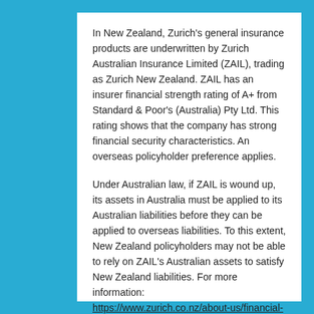In New Zealand, Zurich's general insurance products are underwritten by Zurich Australian Insurance Limited (ZAIL), trading as Zurich New Zealand. ZAIL has an insurer financial strength rating of A+ from Standard & Poor's (Australia) Pty Ltd. This rating shows that the company has strong financial security characteristics. An overseas policyholder preference applies.
Under Australian law, if ZAIL is wound up, its assets in Australia must be applied to its Australian liabilities before they can be applied to overseas liabilities. To this extent, New Zealand policyholders may not be able to rely on ZAIL's Australian assets to satisfy New Zealand liabilities. For more information: https://www.zurich.co.nz/about-us/financial-strength.html